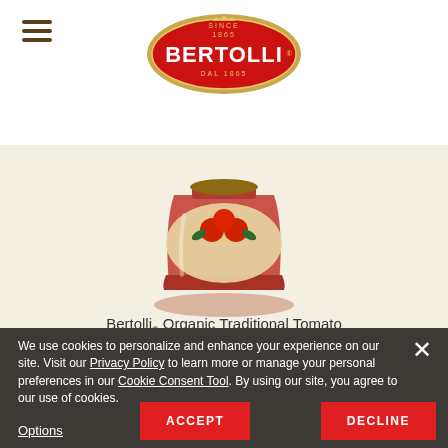Bertolli website header with hamburger menu and Bertolli logo
[Figure (logo): Bertolli brand logo - red oval with gold border, text BERTOLLI in white, SINCE 1865 and DAL 1865 in gold]
[Figure (photo): Bertolli Organic Traditional Tomato & Basil Sauce jar product photo on cream background]
Bertolli® Organic Traditional Tomato & Basil Sauce
RELATED RECIPES
We use cookies to personalize and enhance your experience on our site. Visit our Privacy Policy to learn more or manage your personal preferences in our Cookie Consent Tool. By using our site, you agree to our use of cookies.
Options
ACCEPT
DECLINE